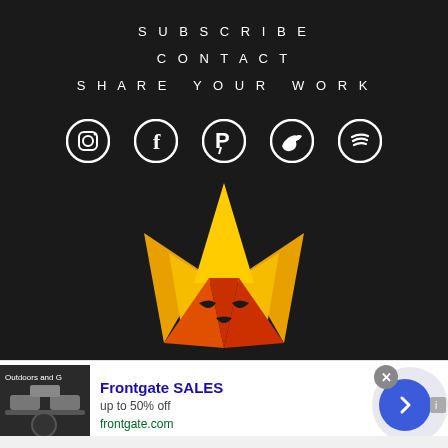SUBSCRIBE
CONTACT
SHARE YOUR WORK
[Figure (illustration): Five social media icons in white on dark background: Instagram, Facebook, Pinterest, Twitter, Spotify]
[Figure (logo): Stylized fox head logo with orange and red gradient flame-like ears and dark facial features]
[Figure (infographic): Advertisement banner for Frontgate SALES with outdoor furniture image, text 'Frontgate SALES / up to 50% off / frontgate.com', and blue arrow button]